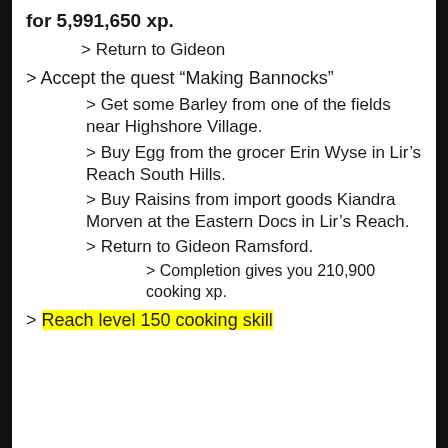for 5,991,650 xp.
> Return to Gideon
> Accept the quest "Making Bannocks"
> Get some Barley from one of the fields near Highshore Village.
> Buy Egg from the grocer Erin Wyse in Lir's Reach South Hills.
> Buy Raisins from import goods Kiandra Morven at the Eastern Docs in Lir's Reach.
> Return to Gideon Ramsford.
> Completion gives you 210,900 cooking xp.
> Reach level 150 cooking skill